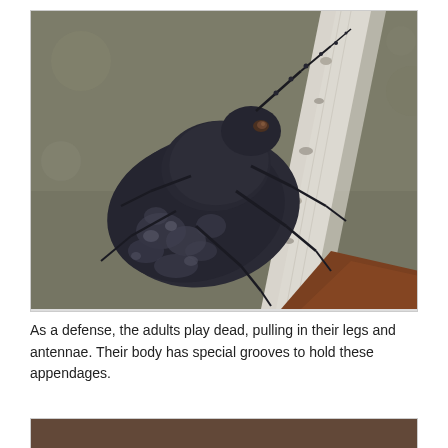[Figure (photo): Close-up macro photograph of a large dark blue-grey beetle (likely a species of darkling beetle or longhorn beetle) perched on a white/grey piece of driftwood or bleached branch. The beetle has a rough, mottled textured elytra with lighter spots, visible segmented antennae extending upward to the right, and multiple spiny legs gripping the branch. The background is a blurred neutral grey-green.]
As a defense, the adults play dead, pulling in their legs and antennae. Their body has special grooves to hold these appendages.
[Figure (photo): Partial view of a second photograph at the bottom of the page, showing a dark reddish-brown surface, likely another insect or close-up nature photograph (cut off).]